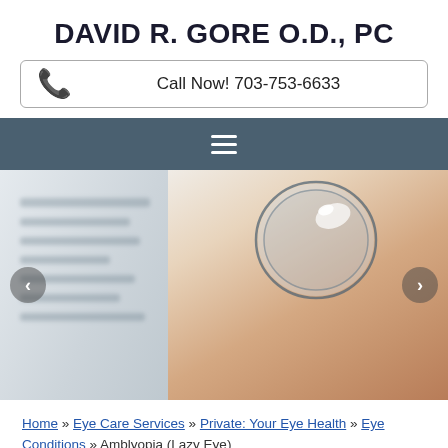DAVID R. GORE O.D., PC
Call Now! 703-753-6633
[Figure (screenshot): Navigation hamburger menu bar with slate-blue background]
[Figure (photo): A contact lens balanced on a fingertip, close-up photo. Left and right carousel navigation arrows visible. Blurred background with text on left side.]
Home » Eye Care Services » Private: Your Eye Health » Eye Conditions » Amblyopia (Lazy Eye)